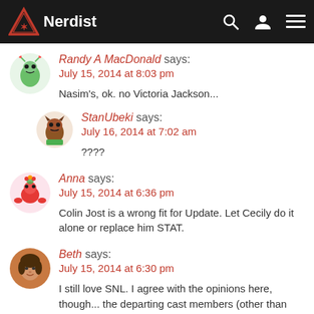Nerdist
Randy A MacDonald says:
July 15, 2014 at 8:03 pm

Nasim's, ok. no Victoria Jackson...
StanUbeki says:
July 16, 2014 at 7:02 am

????
Anna says:
July 15, 2014 at 6:36 pm

Colin Jost is a wrong fit for Update. Let Cecily do it alone or replace him STAT.
Beth says:
July 15, 2014 at 6:30 pm

I still love SNL. I agree with the opinions here, though... the departing cast members (other than Pedrad) really never found their voices or stood out in any way. I'm